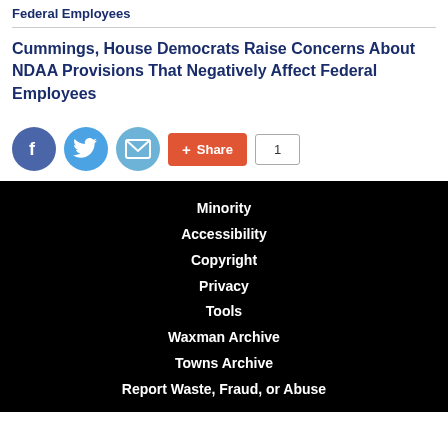Federal Employees
Cummings, House Democrats Raise Concerns About NDAA Provisions That Negatively Affect Federal Employees
[Figure (screenshot): Social sharing icons: Facebook (blue circle), Twitter (blue circle), Email (teal circle), Share button (red/orange), and page number indicator showing 1]
Minority
Accessibility
Copyright
Privacy
Tools
Waxman Archive
Towns Archive
Report Waste, Fraud, or Abuse